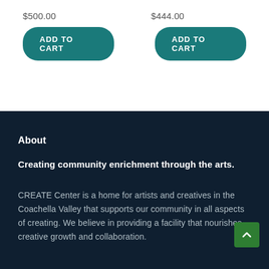$500.00
$444.00
ADD TO CART
ADD TO CART
About
Creating community enrichment through the arts.
CREATE Center is a home for artists and creatives in the Coachella Valley that supports our community in all aspects of creating. We believe in providing a facility that nourishes creative growth and collaboration.